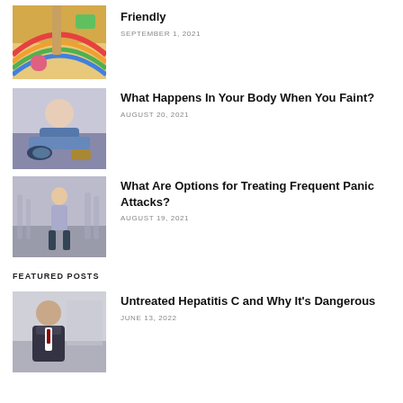[Figure (photo): Colorful rainbow flag and toys]
Friendly
SEPTEMBER 1, 2021
[Figure (photo): Person fallen on ground, shoes visible]
What Happens In Your Body When You Faint?
AUGUST 20, 2021
[Figure (photo): Woman standing in busy street crowd]
What Are Options for Treating Frequent Panic Attacks?
AUGUST 19, 2021
FEATURED POSTS
[Figure (photo): Man in suit, professional headshot]
Untreated Hepatitis C and Why It’s Dangerous
JUNE 13, 2022